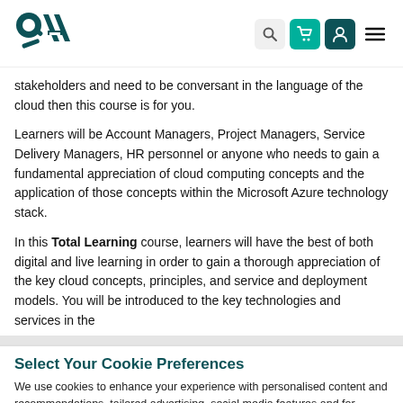QA logo and navigation bar with search, cart, user, and menu icons
stakeholders and need to be conversant in the language of the cloud then this course is for you.
Learners will be Account Managers, Project Managers, Service Delivery Managers, HR personnel or anyone who needs to gain a fundamental appreciation of cloud computing concepts and the application of those concepts within the Microsoft Azure technology stack.
In this Total Learning course, learners will have the best of both digital and live learning in order to gain a thorough appreciation of the key cloud concepts, principles, and service and deployment models. You will be introduced to the key technologies and services in the
Select Your Cookie Preferences
We use cookies to enhance your experience with personalised content and recommendations, tailored advertising, social media features and for analysing our traffic.